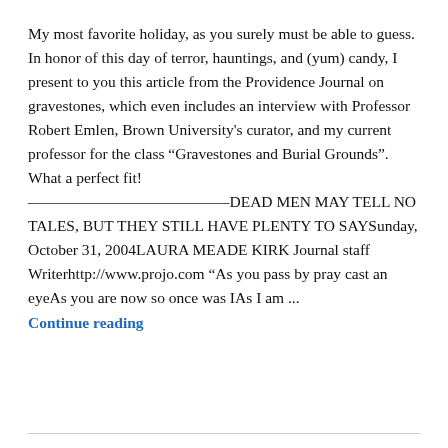My most favorite holiday, as you surely must be able to guess. In honor of this day of terror, hauntings, and (yum) candy, I present to you this article from the Providence Journal on gravestones, which even includes an interview with Professor Robert Emlen, Brown University's curator, and my current professor for the class “Gravestones and Burial Grounds”. What a perfect fit! ——————————————————————————DEAD MEN MAY TELL NO TALES, BUT THEY STILL HAVE PLENTY TO SAYSunday, October 31, 2004LAURA MEADE KIRK Journal staff Writerhttp://www.projo.com “As you pass by pray cast an eyeAs you are now so once was IAs I am ...
Continue reading